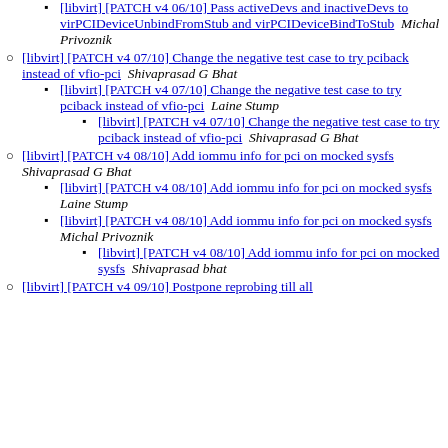[libvirt] [PATCH v4 06/10] Pass activeDevs and inactiveDevs to virPCIDeviceUnbindFromStub and virPCIDeviceBindToStub  Shivaprasad G Bhat
[libvirt] [PATCH v4 06/10] Pass activeDevs and inactiveDevs to virPCIDeviceUnbindFromStub and virPCIDeviceBindToStub  Michal Privoznik
[libvirt] [PATCH v4 07/10] Change the negative test case to try pciback instead of vfio-pci  Shivaprasad G Bhat
[libvirt] [PATCH v4 07/10] Change the negative test case to try pciback instead of vfio-pci  Laine Stump
[libvirt] [PATCH v4 07/10] Change the negative test case to try pciback instead of vfio-pci  Shivaprasad G Bhat
[libvirt] [PATCH v4 08/10] Add iommu info for pci on mocked sysfs  Shivaprasad G Bhat
[libvirt] [PATCH v4 08/10] Add iommu info for pci on mocked sysfs  Laine Stump
[libvirt] [PATCH v4 08/10] Add iommu info for pci on mocked sysfs  Michal Privoznik
[libvirt] [PATCH v4 08/10] Add iommu info for pci on mocked sysfs  Shivaprasad bhat
[libvirt] [PATCH v4 09/10] Postpone reprobing till all